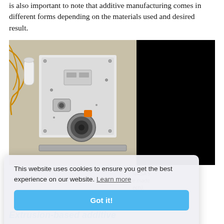is also important to note that additive manufacturing comes in different forms depending on the materials used and desired result.
[Figure (photo): Spacecraft or ISS equipment panel showing internal components, wiring and hardware, with an inset close-up image of a metallic 3D-printed part (gold-colored component) with a blue border overlay]
This website uses cookies to ensure you get the best experience on our website. Learn more
Got it!
NASA's ...e made ...ech).
Extrusion-based additive manufacturing (EAM)